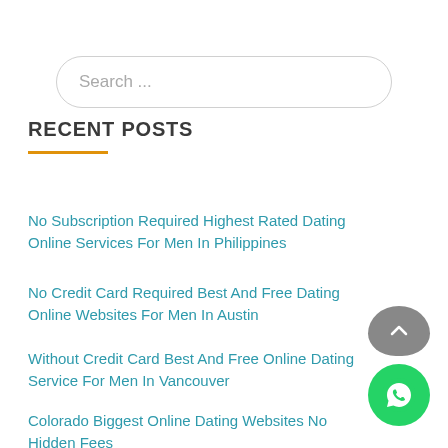[Figure (screenshot): Search bar with rounded corners and placeholder text 'Search ...']
RECENT POSTS
No Subscription Required Highest Rated Dating Online Services For Men In Philippines
No Credit Card Required Best And Free Dating Online Websites For Men In Austin
Without Credit Card Best And Free Online Dating Service For Men In Vancouver
Colorado Biggest Online Dating Websites No Hidden Fees